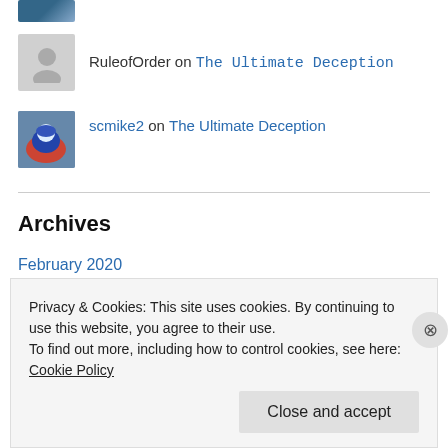[Figure (photo): Partial avatar image at top (cropped)]
RuleofOrder on The Ultimate Deception
[Figure (photo): Avatar photo for scmike2 showing a person in blue helmet crouching]
scmike2 on The Ultimate Deception
Archives
February 2020
September 2018
August 2017
February 2017
Privacy & Cookies: This site uses cookies. By continuing to use this website, you agree to their use.
To find out more, including how to control cookies, see here: Cookie Policy
Close and accept